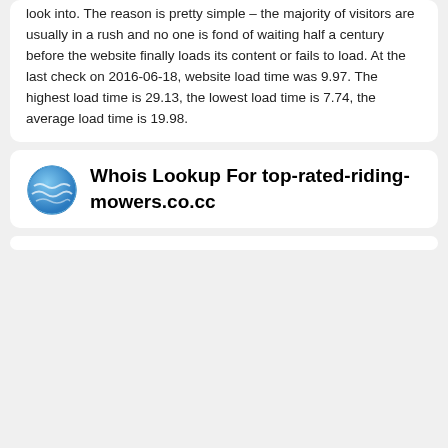look into. The reason is pretty simple – the majority of visitors are usually in a rush and no one is fond of waiting half a century before the website finally loads its content or fails to load. At the last check on 2016-06-18, website load time was 9.97. The highest load time is 29.13, the lowest load time is 7.74, the average load time is 19.98.
Whois Lookup For top-rated-riding-mowers.co.cc